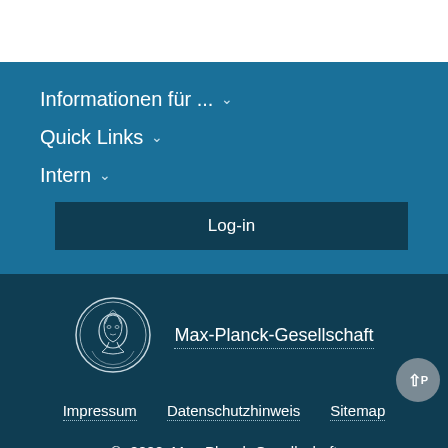Informationen für ... ˅
Quick Links ˅
Intern ˅
Log-in
[Figure (logo): Max-Planck-Gesellschaft circular medallion logo with profile portrait]
Max-Planck-Gesellschaft
Impressum    Datenschutzhinweis    Sitemap
© 2022, Max-Planck-Gesellschaft